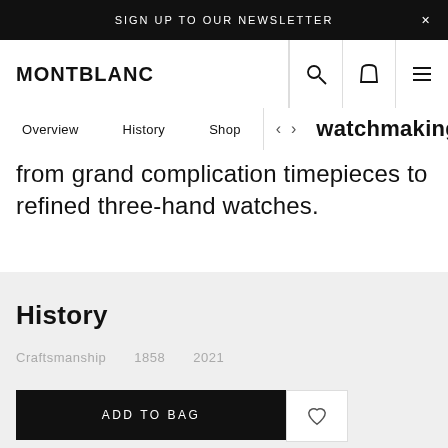SIGN UP TO OUR NEWSLETTER
[Figure (logo): Montblanc logo - black bold text]
Overview   History   Shop   < >   watchmaking
from grand complication timepieces to refined three-hand watches.
History
Craftsmanship   1858   2021
ADD TO BAG